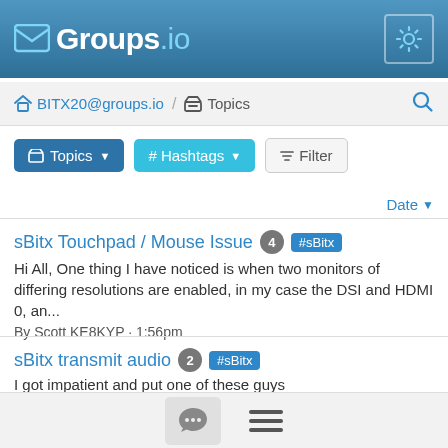Groups.io
BITX20@groups.io / Topics
Topics  # Hashtags  Filter
Date
sBitx Touchpad / Mouse Issue  4  #sBitx
Hi All, One thing I have noticed is when two monitors of differing resolutions are enabled, in my case the DSI and HDMI 0, an...
By Scott KE8KYP · 1:56pm
sBitx transmit audio  2  #sBitx
I got impatient and put one of these guys (https://www.amazon.com/dp/B08R6337QY) in to replace the...
By Mark Earnest · 1:54pm